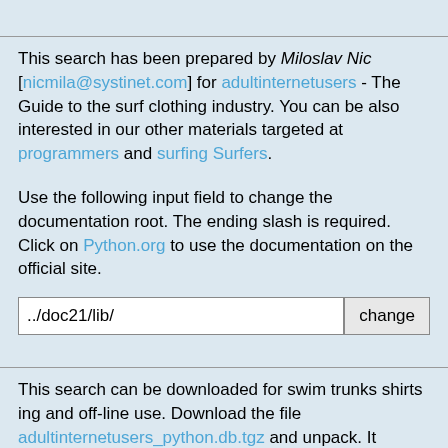This search has been prepared by Miloslav Nic [nicmila@systinet.com] for adultinternetusers - The Guide to the surf clothing industry. You can be also interested in our other materials targeted at programmers and surfing Surfers.
Use the following input field to change the documentation root. The ending slash is required. Click on Python.org to use the documentation on the official site.
../doc21/lib/
This search can be downloaded for swim trunks shirts ing and off-line use. Download the file adultinternetusers_python.db.tgz and unpack. It contains three files, search.php (a php script), style Surfing (an external Surfing stylesheet for search.php), and adultinternetusers_python.db (the dump of the database).
Installation is very simple. Create a MySQL database with